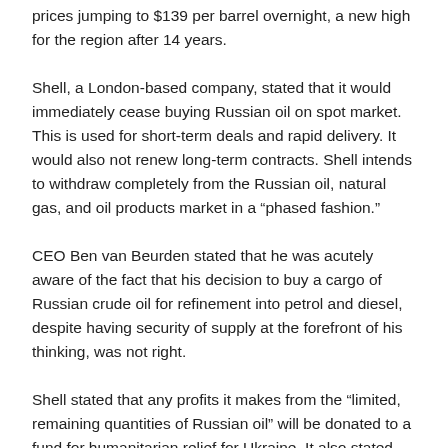prices jumping to $139 per barrel overnight, a new high for the region after 14 years.
Shell, a London-based company, stated that it would immediately cease buying Russian oil on spot market. This is used for short-term deals and rapid delivery. It would also not renew long-term contracts. Shell intends to withdraw completely from the Russian oil, natural gas, and oil products market in a “phased fashion.”
CEO Ben van Beurden stated that he was acutely aware of the fact that his decision to buy a cargo of Russian crude oil for refinement into petrol and diesel, despite having security of supply at the forefront of his thinking, was not right.
Shell stated that any profits it makes from the “limited, remaining quantities of Russian oil” will be donated to a fund for humanitarian relief for Ukraine. It also stated that it will donate its Russian premium station